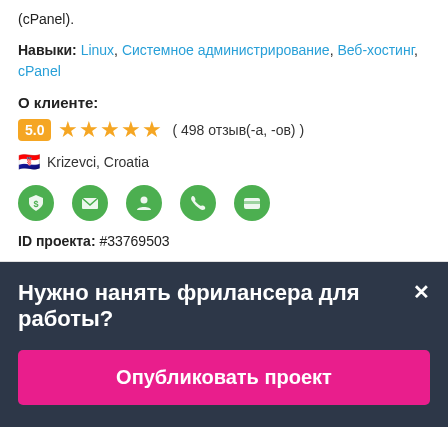(cPanel).
Навыки: Linux, Системное администрирование, Веб-хостинг, cPanel
О клиенте:
5.0 ★★★★★ ( 498 отзыв(-а, -ов) )
Krizevci, Croatia
[Figure (infographic): Row of 5 green verified icons: payment, email, identity, phone, payment method]
ID проекта: #33769503
Нужно нанять фрилансера для работы?
Опубликовать проект